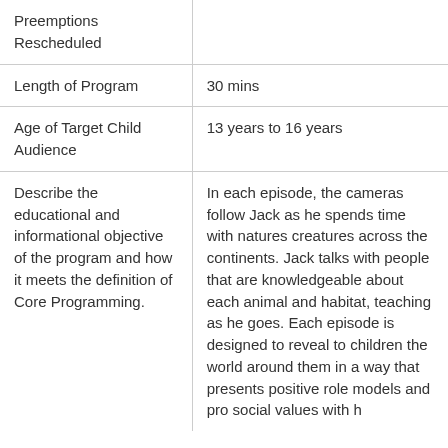| Preemptions Rescheduled |  |
| Length of Program | 30 mins |
| Age of Target Child Audience | 13 years to 16 years |
| Describe the educational and informational objective of the program and how it meets the definition of Core Programming. | In each episode, the cameras follow Jack as he spends time with natures creatures across the continents. Jack talks with people that are knowledgeable about each animal and habitat, teaching as he goes. Each episode is designed to reveal to children the world around them in a way that presents positive role models and pro social values with h... |